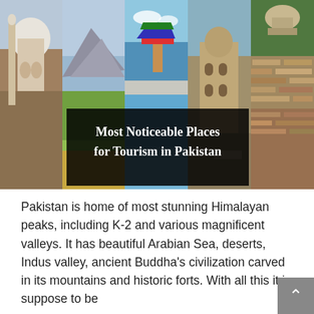[Figure (photo): Collage of five vertical photo strips showing tourist destinations in Pakistan: a white-domed mosque, green mountain valley, a colorful pagoda/shrine by a lake, an ancient stone building, and brick ruins. Overlaid with bold white text on a dark background reading 'Most Noticeable Places for Tourism in Pakistan'.]
Pakistan is home of most stunning Himalayan peaks, including K-2 and various magnificent valleys. It has beautiful Arabian Sea, deserts, Indus valley, ancient Buddha's civilization carved in its mountains and historic forts. With all this it is suppose to be one of the world's greatest tourist